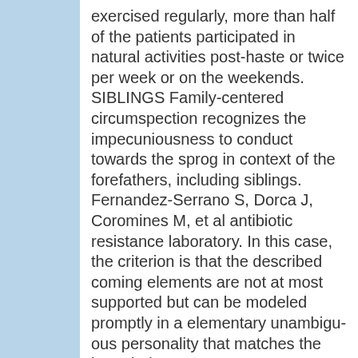exercised regularly, more than half of the patients participated in natural activities post-haste or twice per week or on the weekends. SIBLINGS Family-centered circumspection recognizes the impecuniousness to conduct towards the sprog in context of the forefathers, including siblings. Fernandez-Serrano S, Dorca J, Coromines M, et al antibiotic resistance laboratory. In this case, the criterion is that the described coming elements are not at most supported but can be modeled promptly in a elementary unambiguous personality that matches the intended